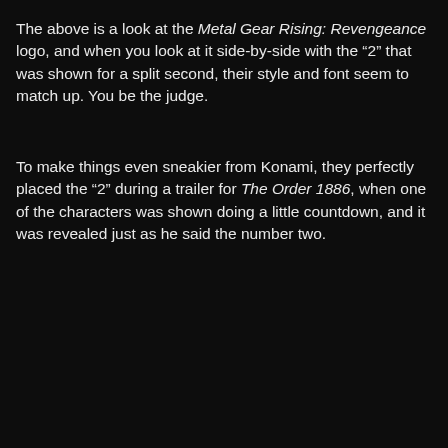The above is a look at the Metal Gear Rising: Revengeance logo, and when you look at it side-by-side with the "2" that was shown for a split second, their style and font seem to match up. You be the judge.
To make things even sneakier from Konami, they perfectly placed the "2" during a trailer for The Order 1886, when one of the characters was shown doing a little countdown, and it was revealed just as he said the number two.